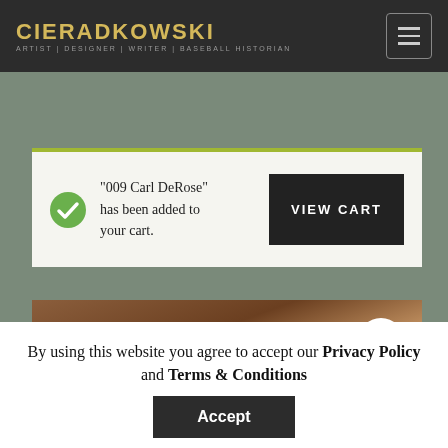CIERADKOWSKI — ARTIST | DESIGNER | WRITER | BASEBALL HISTORIAN
“009 Carl DeRose” has been added to your cart.
VIEW CART
[Figure (photo): Open book on wooden surface with search magnifier icon overlay]
By using this website you agree to accept our Privacy Policy and Terms & Conditions
Accept